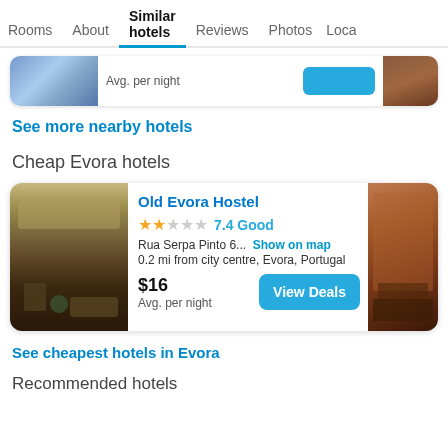Rooms  About  Similar hotels  Reviews  Photos  Loca...
[Figure (screenshot): Partial hotel card showing avg. per night label and blue button, with partial blue-toned hotel exterior image on left and brown interior image on right]
See more nearby hotels
Cheap Evora hotels
[Figure (screenshot): Hotel listing card for Old Evora Hostel showing kitchen/food photo on left, 2-star rating with 7.4 Good score, address Rua Serpa Pinto 6..., 0.2 mi from city centre, Evora, Portugal, price $16 avg. per night, View Deals button, and bar interior photo on right]
See cheapest hotels in Evora
Recommended hotels